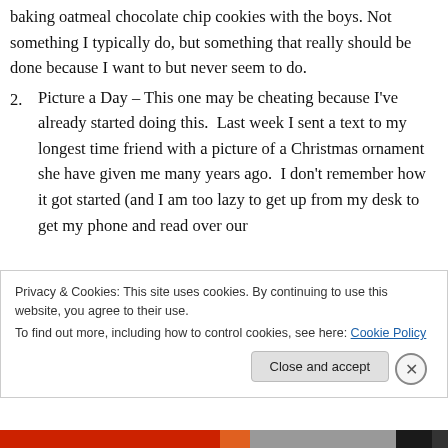baking oatmeal chocolate chip cookies with the boys. Not something I typically do, but something that really should be done because I want to but never seem to do.
2. Picture a Day – This one may be cheating because I've already started doing this.  Last week I sent a text to my longest time friend with a picture of a Christmas ornament she have given me many years ago.  I don't remember how it got started (and I am too lazy to get up from my desk to get my phone and read over our
Privacy & Cookies: This site uses cookies. By continuing to use this website, you agree to their use.
To find out more, including how to control cookies, see here: Cookie Policy